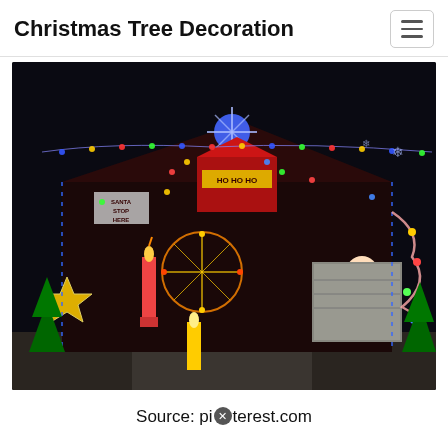Christmas Tree Decoration
[Figure (photo): A house heavily decorated with Christmas lights and ornaments at night. Signs reading 'Santa Stop Here' and 'Ho Ho Ho' are visible. The display includes stars, spinning decorations, illuminated figures, candy canes, snowmen, and Santa Claus figures.]
Source: pinterest.com